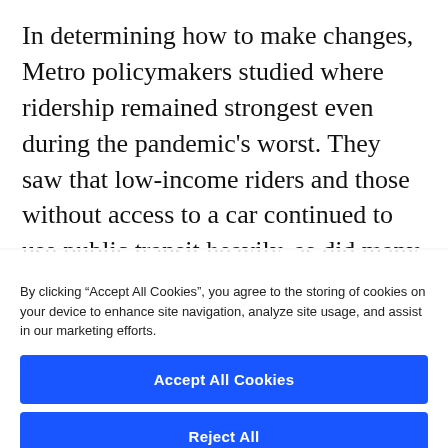In determining how to make changes, Metro policymakers studied where ridership remained strongest even during the pandemic’s worst. They saw that low-income riders and those without access to a car continued to use public transit heavily, as did many essential workers in the health-care and government fields. As vaccinations spread, and
By clicking “Accept All Cookies”, you agree to the storing of cookies on your device to enhance site navigation, analyze site usage, and assist in our marketing efforts.
Accept All Cookies
Reject All
Cookies Settings